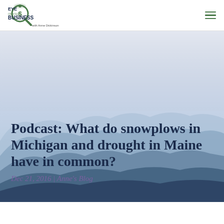[Figure (logo): Eye on Your Business with Anne Dickinson logo — magnifying glass with dollar sign, green and dark text]
Podcast: What do snowplows in Michigan and drought in Maine have in common?
Dec 21, 2016 | Anne's Blog